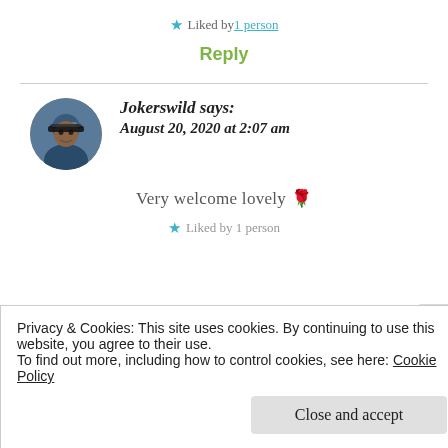★ Liked by 1 person
Reply
Jokerswild says: August 20, 2020 at 2:07 am
Very welcome lovely 🌹
★ Liked by 1 person
Privacy & Cookies: This site uses cookies. By continuing to use this website, you agree to their use.
To find out more, including how to control cookies, see here: Cookie Policy
Close and accept